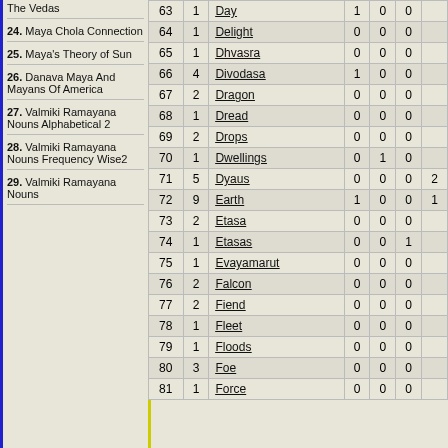The Vedas
24. Maya Chola Connection
25. Maya's Theory of Sun
26. Danava Maya And Mayans Of America
27. Valmiki Ramayana Nouns Alphabetical 2
28. Valmiki Ramayana Nouns Frequency Wise2
29. Valmiki Ramayana Nouns
| # | Count | Name | Col1 | Col2 | Col3 | Col4 |
| --- | --- | --- | --- | --- | --- | --- |
| 63 | 1 | Day | 1 | 0 | 0 |  |
| 64 | 1 | Delight | 0 | 0 | 0 |  |
| 65 | 1 | Dhvasra | 0 | 0 | 0 |  |
| 66 | 4 | Divodasa | 1 | 0 | 0 |  |
| 67 | 2 | Dragon | 0 | 0 | 0 |  |
| 68 | 1 | Dread | 0 | 0 | 0 |  |
| 69 | 2 | Drops | 0 | 0 | 0 |  |
| 70 | 1 | Dwellings | 0 | 1 | 0 |  |
| 71 | 5 | Dyaus | 0 | 0 | 0 | 2 |
| 72 | 9 | Earth | 1 | 0 | 0 | 1 |
| 73 | 2 | Etasa | 0 | 0 | 0 |  |
| 74 | 1 | Etasas | 0 | 0 | 1 |  |
| 75 | 1 | Evayamarut | 0 | 0 | 0 |  |
| 76 | 2 | Falcon | 0 | 0 | 0 |  |
| 77 | 2 | Fiend | 0 | 0 | 0 |  |
| 78 | 1 | Fleet | 0 | 0 | 0 |  |
| 79 | 1 | Floods | 0 | 0 | 0 |  |
| 80 | 3 | Foe | 0 | 0 | 0 |  |
| 81 | 1 | Force | 0 | 0 | 0 |  |